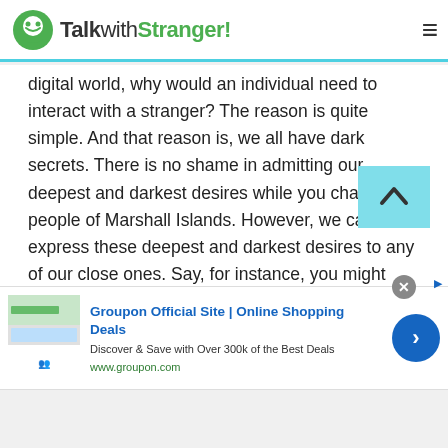TalkwithStranger!
digital world, why would an individual need to interact with a stranger? The reason is quite simple. And that reason is, we all have dark secrets. There is no shame in admitting our deepest and darkest desires while you chat with people of Marshall Islands. However, we cannot express these deepest and darkest desires to any of our close ones. Say, for instance, you might have a crush on your girl-best friends. Can you tell your other friends about it? No. You will not even tell you that best friend whom you have a crush on.
[Figure (screenshot): Groupon advertisement banner with logo, title 'Groupon Official Site | Online Shopping Deals', description 'Discover & Save with Over 300k of the Best Deals', URL www.groupon.com, and a blue circular arrow button]